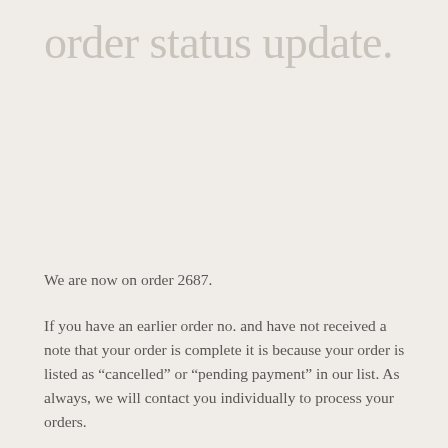order status update.
We are now on order 2687.
If you have an earlier order no. and have not received a note that your order is complete it is because your order is listed as “cancelled” or “pending payment” in our list. As always, we will contact you individually to process your orders.
If you know that your order has this status to speed things up you can place a new order and include a note with your original order